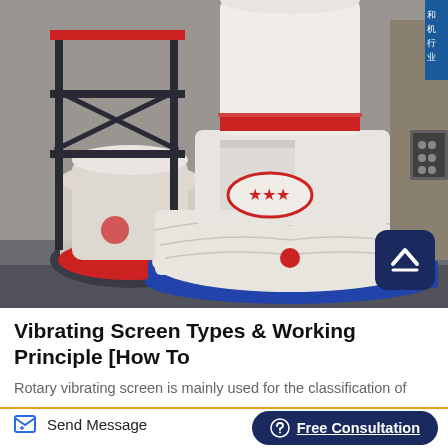[Figure (photo): Industrial vibrating mill or grinding equipment wrapped in white protective covering with red trim and blue base, shown in a factory warehouse setting with steel scaffolding and similar equipment in background]
Vibrating Screen Types & Working Principle [How To
Rotary vibrating screen is mainly used for the classification of
Send Message
Free Consultation